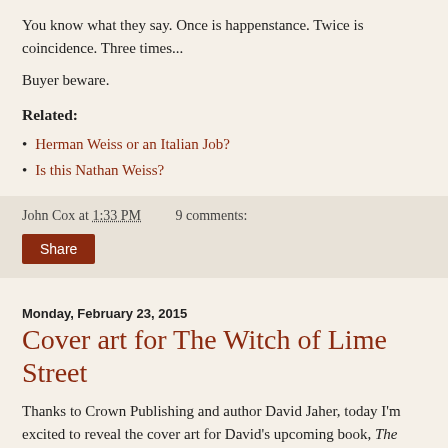You know what they say. Once is happenstance. Twice is coincidence. Three times...
Buyer beware.
Related:
Herman Weiss or an Italian Job?
Is this Nathan Weiss?
John Cox at 1:33 PM   9 comments:
Share
Monday, February 23, 2015
Cover art for The Witch of Lime Street
Thanks to Crown Publishing and author David Jaher, today I'm excited to reveal the cover art for David's upcoming book, The Witch of Lime Street: Séance, Seduction, and Houdini in the Spirit World. This is the first major book to cover Houdini and Margery